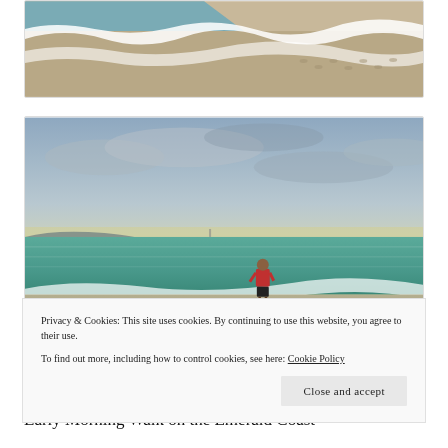[Figure (photo): Aerial or close-up view of ocean waves washing onto a sandy beach, white foam on wet sand with footprints visible.]
[Figure (photo): Person in a red hoodie and dark shorts standing at the shoreline of a beach at early morning, calm greenish-teal ocean water, cloudy yellow-tinted sky, distant coastline visible on the left.]
Privacy & Cookies: This site uses cookies. By continuing to use this website, you agree to their use.
To find out more, including how to control cookies, see here: Cookie Policy
Close and accept
Early Morning Walk on the Emerald Coast